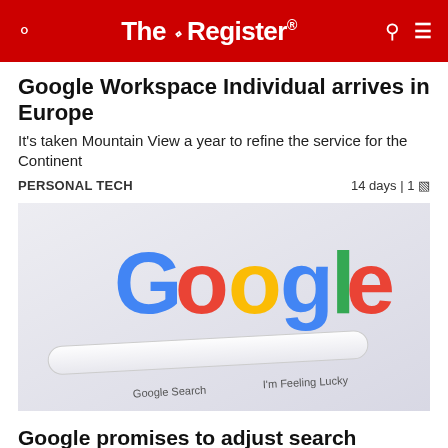The Register
Google Workspace Individual arrives in Europe
It's taken Mountain View a year to refine the service for the Continent
PERSONAL TECH   14 days | 1
[Figure (photo): Photo of a Google search homepage showing the Google logo and search bar with 'Google Search' and 'I'm Feeling Lucky' buttons]
Google promises to adjust search algorithm to favor 'people-first content'